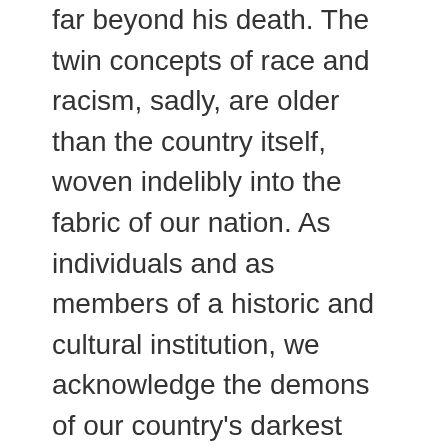far beyond his death. The twin concepts of race and racism, sadly, are older than the country itself, woven indelibly into the fabric of our nation. As individuals and as members of a historic and cultural institution, we acknowledge the demons of our country's darkest moments and stand, unreservedly, with those protesting this injustice.
As a National Heritage Area, understanding, interpreting, and promoting a full and honest understanding of the past is at the center of what we do. That includes the injustices of history, from the enslavement of the Flat Rock ancestors – including at the Lyon Farm – to the institutions of segregation and Jim Crow that